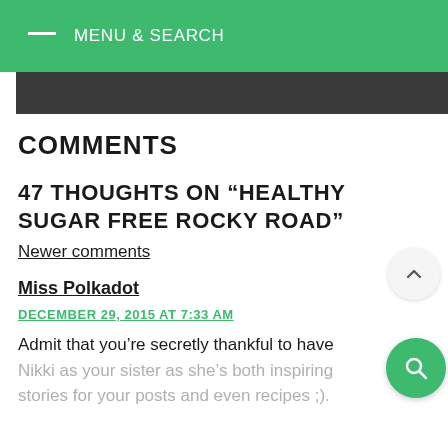MENU & SEARCH
COMMENTS
47 THOUGHTS ON “HEALTHY SUGAR FREE ROCKY ROAD”
Newer comments
Miss Polkadot
DECEMBER 29, 2015 AT 7:33 AM
Admit that you’re secretly thankful to have Nikki as your sister as she’s both inspiring stories for your posts and even recipes ;).